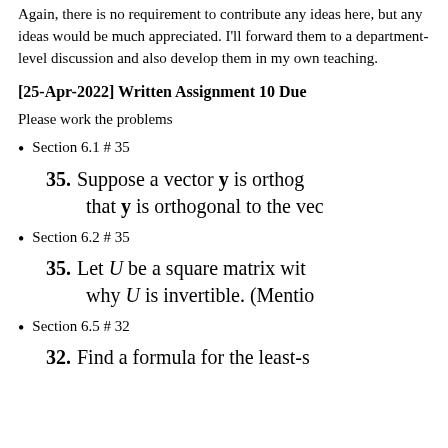Again, there is no requirement to contribute any ideas here, but any ideas would be much appreciated. I'll forward them to a department-level discussion and also develop them in my own teaching.
[25-Apr-2022] Written Assignment 10 Due
Please work the problems
Section 6.1 # 35
35.  Suppose a vector y is orthog... that y is orthogonal to the vec...
Section 6.2 # 35
35.  Let U be a square matrix wit... why U is invertible. (Mentio...
Section 6.5 # 32
32.  Find a formula for the least-s...